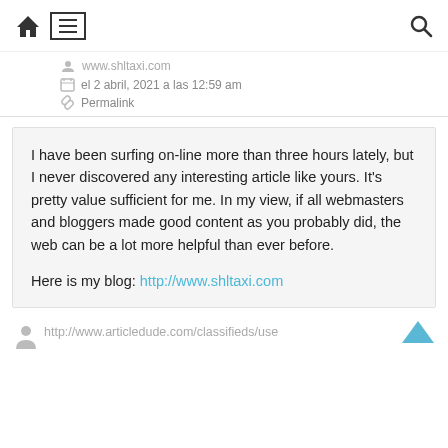Navigation bar with home icon, menu (hamburger), and search icon
www.shltaxi.com
el 2 abril, 2021 a las 12:59 am
Permalink
I have been surfing on-line more than three hours lately, but I never discovered any interesting article like yours. It's pretty value sufficient for me. In my view, if all webmasters and bloggers made good content as you probably did, the web can be a lot more helpful than ever before.

Here is my blog: http://www.shltaxi.com
http://www.articledude.com/classifieds/use